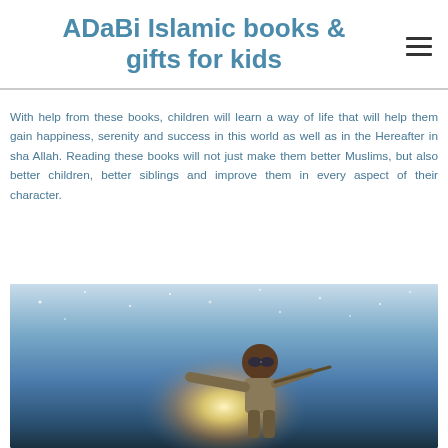ADaBi Islamic books & gifts for kids
With help from these books, children will learn a way of life that will help them gain happiness, serenity and success in this world as well as in the Hereafter in sha Allah. Reading these books will not just make them better Muslims, but also better children, better siblings and improve them in every aspect of their character.
[Figure (photo): A child dressed as an aviator with goggles, pointing forward against a dramatic sky background with stars, appearing to fly or soar]